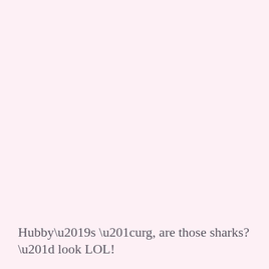Hubby’s “urg, are those sharks?” look LOL!